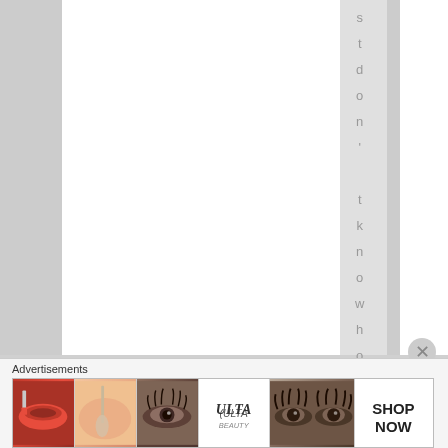[Figure (screenshot): A webpage layout showing multiple vertical column strips in white and gray, with vertical rotated text reading 's t d o n - t k n o w h o w t o s' in a gray sidebar column]
Advertisements
[Figure (photo): Advertisement banner for Ulta Beauty showing makeup images: lips with lipstick, makeup brush, eye with mascara, Ulta Beauty logo, smoky eye makeup, and SHOP NOW button]